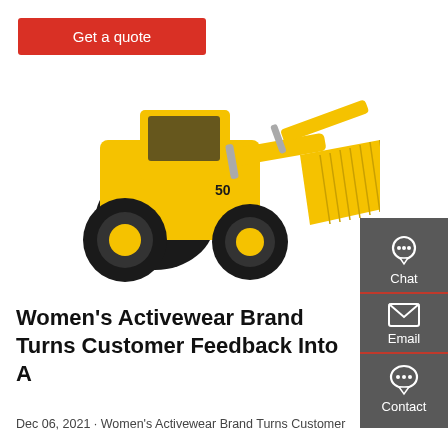Get a quote
[Figure (photo): Yellow front-end wheel loader / bulldozer on white background]
[Figure (infographic): Dark grey sidebar with Chat (headset icon), Email (envelope icon), and Contact (speech bubble icon) options, separated by red lines]
Women's Activewear Brand Turns Customer Feedback Into A
Dec 06, 2021 · Women's Activewear Brand Turns Customer